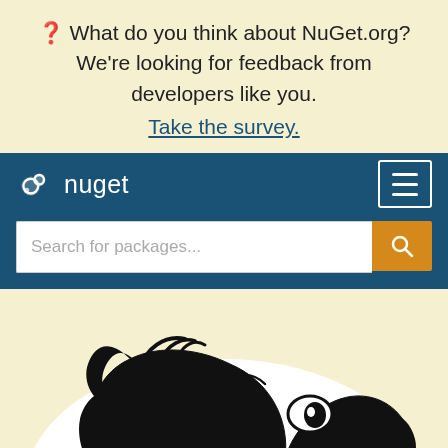❓ What do you think about NuGet.org? We're looking for feedback from developers like you. Take the survey.
[Figure (logo): NuGet logo and navigation bar with hamburger menu and search bar for packages]
[Figure (illustration): Black and white illustration of a mammoth (NuGet mascot) viewed from the front/side, showing large curved tusks and trunk]